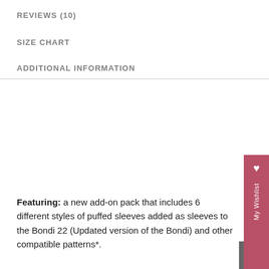REVIEWS (10)
SIZE CHART
ADDITIONAL INFORMATION
Featuring: a new add-on pack that includes 6 different styles of puffed sleeves added as sleeves to the Bondi 22 (Updated version of the Bondi) and other compatible patterns*.